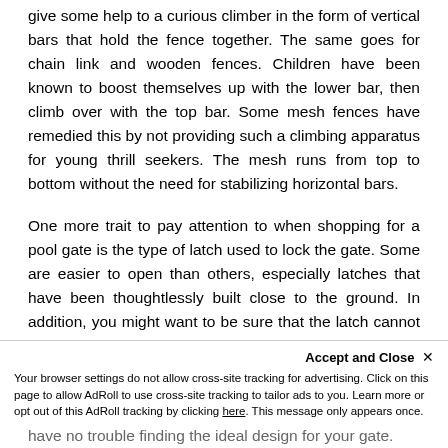give some help to a curious climber in the form of vertical bars that hold the fence together. The same goes for chain link and wooden fences. Children have been known to boost themselves up with the lower bar, then climb over with the top bar. Some mesh fences have remedied this by not providing such a climbing apparatus for young thrill seekers. The mesh runs from top to bottom without the need for stabilizing horizontal bars.
One more trait to pay attention to when shopping for a pool gate is the type of latch used to lock the gate. Some are easier to open than others, especially latches that have been thoughtlessly built close to the ground. In addition, you might want to be sure that the latch cannot clamp down on any fingers left near the point of closing impact. Some gates come with a magnetic latch design that will eliminate the death grip that seems customary of some pool gates.
Accept and Close ×
Your browser settings do not allow cross-site tracking for advertising. Click on this page to allow AdRoll to use cross-site tracking to tailor ads to you. Learn more or opt out of this AdRoll tracking by clicking here. This message only appears once.
have no trouble finding the ideal design for your gate.